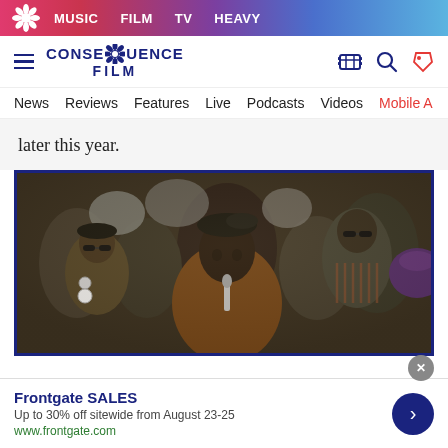MUSIC  FILM  TV  HEAVY
[Figure (logo): Consequence Film logo with gear icon, hamburger menu, search and tag icons]
News  Reviews  Features  Live  Podcasts  Videos  Mobile A
later this year.
[Figure (photo): Photo of Black men at a rally/protest, center figure wearing a brown jacket and beret speaking at a microphone, others wearing sunglasses; dark blue border frame]
Frontgate SALES
Up to 30% off sitewide from August 23-25
www.frontgate.com